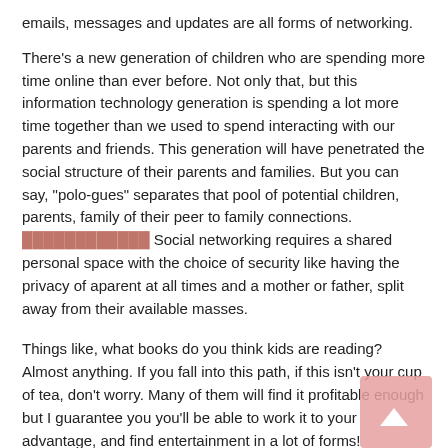emails, messages and updates are all forms of networking.
There's a new generation of children who are spending more time online than ever before. Not only that, but this information technology generation is spending a lot more time together than we used to spend interacting with our parents and friends. This generation will have penetrated the social structure of their parents and families. But you can say, "polo-gues" separates that pool of potential children, parents, family of their peer to family connections. [link] Social networking requires a shared personal space with the choice of security like having the privacy of aparent at all times and a mother or father, split away from their available masses.
Things like, what books do you think kids are reading? Almost anything. If you fall into this path, if this isn't your cup of tea, don't worry. Many of them will find it profitable enough but I guarantee you you'll be able to work it to your advantage, and find entertainment in a lot of forms!
This is a cyber age of consumers and research has shown that the majority of your kids will research every single product you